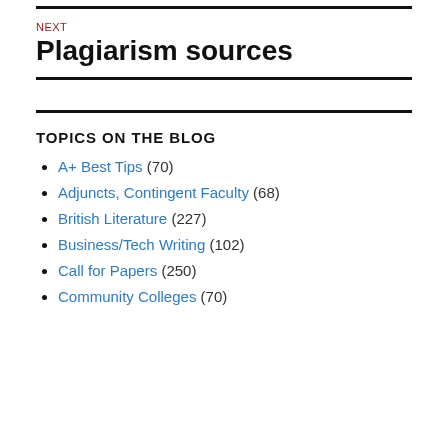NEXT
Plagiarism sources
TOPICS ON THE BLOG
A+ Best Tips (70)
Adjuncts, Contingent Faculty (68)
British Literature (227)
Business/Tech Writing (102)
Call for Papers (250)
Community Colleges (70)